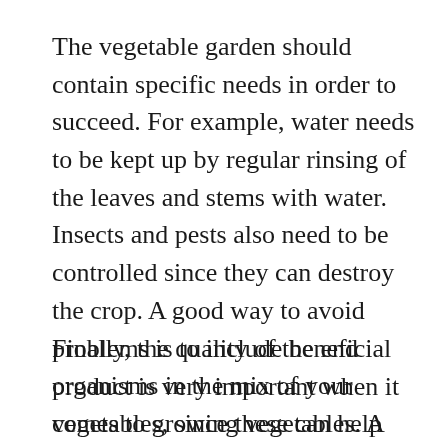The vegetable garden should contain specific needs in order to succeed. For example, water needs to be kept up by regular rinsing of the leaves and stems with water. Insects and pests also need to be controlled since they can destroy the crop. A good way to avoid problems is to include beneficial organisms in the mix of your vegetables, since these can help restore a healthy environment in which the micro-organisms can thrive.
Finally, the quality of the end product is very important when it comes to growing vegetables. A well nourished plant will yield more fruits or vegetables, and it will be